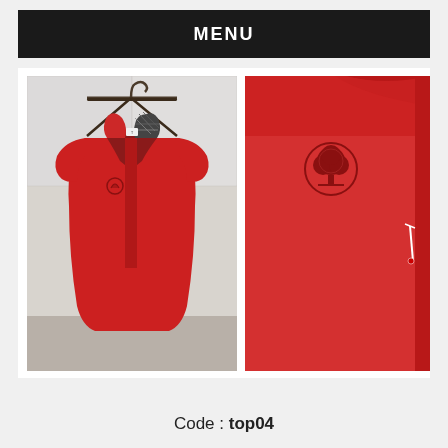MENU
[Figure (photo): Two photos of a red Timberland polo shirt: left photo shows the full shirt on a hanger with a plaid collar lining; right photo shows a close-up of the left chest with the Timberland tree logo embroidered.]
Code : top04